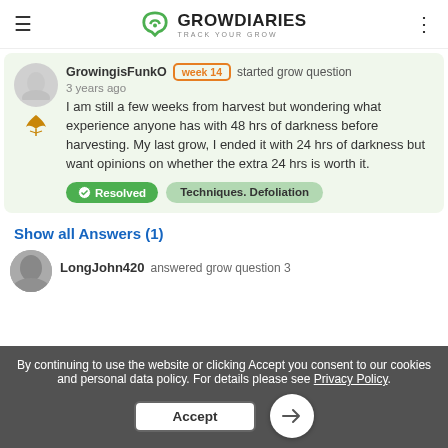GROWDIARIES · TRACK YOUR GROW
GrowingisFunkO week 14 started grow question
3 years ago
I am still a few weeks from harvest but wondering what experience anyone has with 48 hrs of darkness before harvesting. My last grow, I ended it with 24 hrs of darkness but want opinions on whether the extra 24 hrs is worth it.
Resolved  Techniques. Defoliation
Show all Answers (1)
LongJohn420  answered grow question 3
By continuing to use the website or clicking Accept you consent to our cookies and personal data policy. For details please see Privacy Policy.
Accept